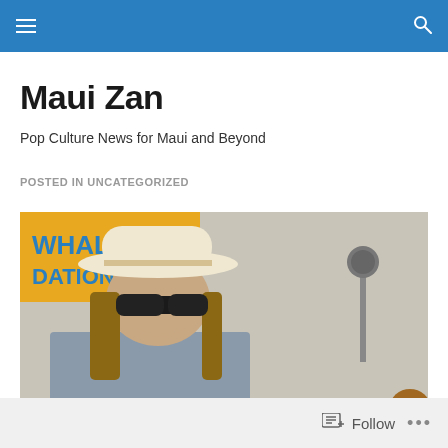Maui Zan – navigation bar with hamburger menu and search icon
Maui Zan
Pop Culture News for Maui and Beyond
POSTED IN UNCATEGORIZED
[Figure (photo): A man with long hair wearing a white cowboy hat and sunglasses performing or speaking at an event. A banner in the background reads 'WHALE DATION' (likely Pacific Whale Foundation). A microphone stand is visible to the right.]
Follow